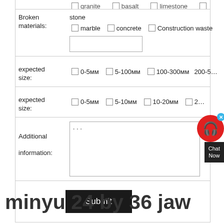| Broken materials: | stone  ☐ marble  ☐ concrete  ☐ Construction waste  [text input] |
| expected size: | ☐ 0-5мм  ☐ 5-100мм  ☐ 100-300мм  ☐ 200-5... |
| expected size: | ☐ 0-5мм  ☐ 5-10мм  ☐ 10-20мм  ☐ 2... |
| Additional information: | ... [textarea] |
|  | Submit |
minyu 24 by 36 jaw